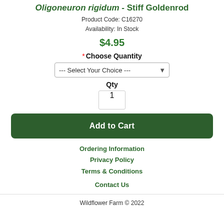Oligoneuron rigidum - Stiff Goldenrod
Product Code: C16270
Availability: In Stock
$4.95
* Choose Quantity
--- Select Your Choice ---
Qty
1
Add to Cart
Ordering Information
Privacy Policy
Terms & Conditions
Contact Us
Wildflower Farm © 2022